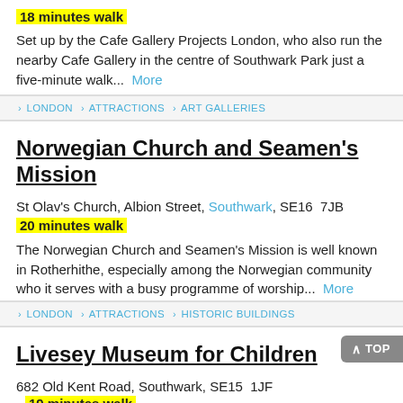18 minutes walk
Set up by the Cafe Gallery Projects London, who also run the nearby Cafe Gallery in the centre of Southwark Park just a five-minute walk...  More
> LONDON > ATTRACTIONS > ART GALLERIES
Norwegian Church and Seamen's Mission
St Olav's Church, Albion Street, Southwark, SE16  7JB
20 minutes walk
The Norwegian Church and Seamen's Mission is well known in Rotherhithe, especially among the Norwegian community who it serves with a busy programme of worship...  More
> LONDON > ATTRACTIONS > HISTORIC BUILDINGS
Livesey Museum for Children
682 Old Kent Road, Southwark, SE15  1JF  19 minutes walk
The Livesey Museum...